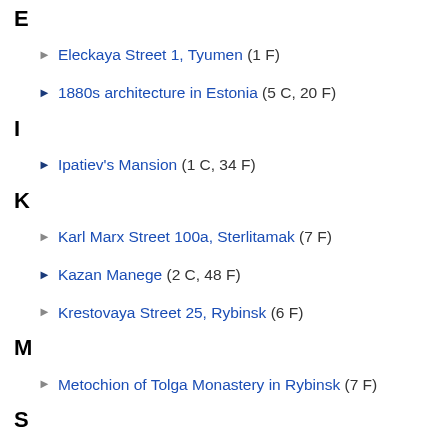E
Eleckaya Street 1, Tyumen (1 F)
1880s architecture in Estonia (5 C, 20 F)
I
Ipatiev's Mansion (1 C, 34 F)
K
Karl Marx Street 100a, Sterlitamak (7 F)
Kazan Manege (2 C, 48 F)
Krestovaya Street 25, Rybinsk (6 F)
M
Metochion of Tolga Monastery in Rybinsk (7 F)
S
Studgorodok 2, Tomsk (12 F)